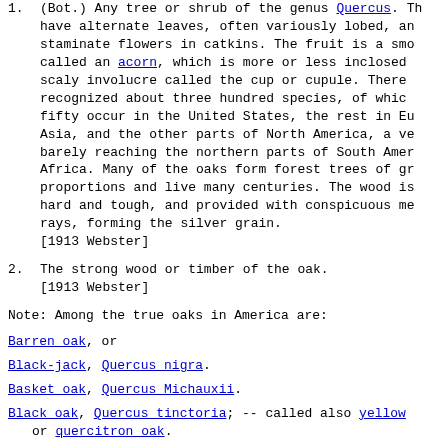1. (Bot.) Any tree or shrub of the genus Quercus. They have alternate leaves, often variously lobed, and staminate flowers in catkins. The fruit is a smooth nut called an acorn, which is more or less inclosed in a scaly involucre called the cup or cupule. There are recognized about three hundred species, of which about fifty occur in the United States, the rest in Europe, Asia, and the other parts of North America, a very few barely reaching the northern parts of South America and Africa. Many of the oaks form forest trees of grand proportions and live many centuries. The wood is generally hard and tough, and provided with conspicuous medullary rays, forming the silver grain.
[1913 Webster]
2. The strong wood or timber of the oak.
[1913 Webster]
Note: Among the true oaks in America are:
Barren oak, or
Black-jack, Quercus nigra.
Basket oak, Quercus Michauxii.
Black oak, Quercus tinctoria; -- called also yellow or quercitron oak.
Bur oak (see under Bur.), Quercus macrocarpa; ca